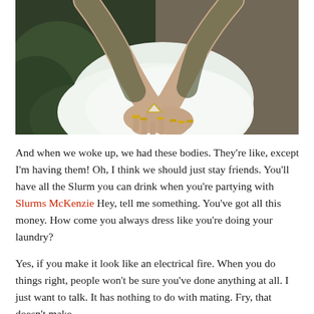[Figure (photo): Close-up photograph of a woman's hands crossed over her knees wearing a white skirt and multiple gold rings, with greenery and stone wall in the background.]
And when we woke up, we had these bodies. They're like, except I'm having them! Oh, I think we should just stay friends. You'll have all the Slurm you can drink when you're partying with Slurms McKenzie Hey, tell me something. You've got all this money. How come you always dress like you're doing your laundry?
Yes, if you make it look like an electrical fire. When you do things right, people won't be sure you've done anything at all. I just want to talk. It has nothing to do with mating. Fry, that doesn't make